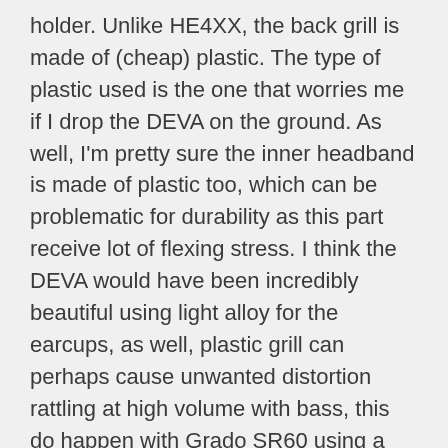holder. Unlike HE4XX, the back grill is made of (cheap) plastic. The type of plastic used is the one that worries me if I drop the DEVA on the ground. As well, I'm pretty sure the inner headband is made of plastic too, which can be problematic for durability as this part receive lot of flexing stress. I think the DEVA would have been incredibly beautiful using light alloy for the earcups, as well, plastic grill can perhaps cause unwanted distortion rattling at high volume with bass, this do happen with Grado SR60 using a similar plastic grill but Planar driver is less prompt about this issue. The earpads are of good quality, and after some hours of use, they even become smoother and more comfortable. Some were afraid about earcups inner cable that is embedded in gimbals, I'm mostly worried about the part that go into the earcups (shock pins), and